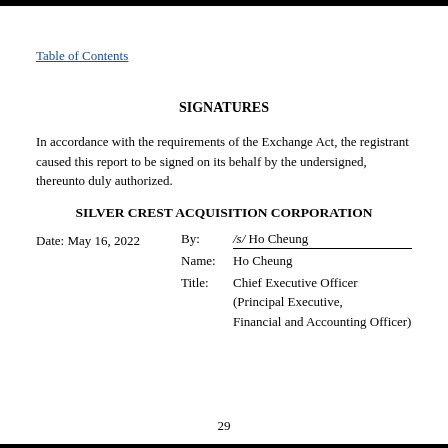Table of Contents
SIGNATURES
In accordance with the requirements of the Exchange Act, the registrant caused this report to be signed on its behalf by the undersigned, thereunto duly authorized.
SILVER CREST ACQUISITION CORPORATION
| Date: May 16, 2022 | By: | /s/ Ho Cheung |
|  | Name: | Ho Cheung |
|  | Title: | Chief Executive Officer (Principal Executive, Financial and Accounting Officer) |
29